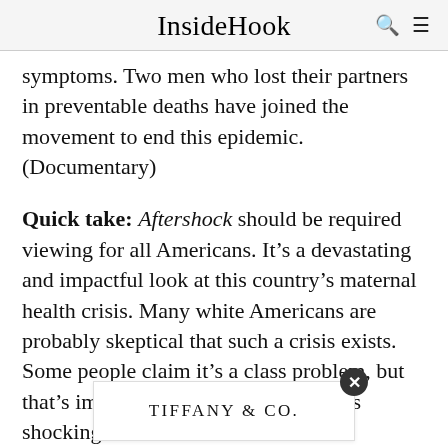InsideHook
symptoms. Two men who lost their partners in preventable deaths have joined the movement to end this epidemic. (Documentary)
Quick take: Aftershock should be required viewing for all Americans. It's a devastating and impactful look at this country's maternal health crisis. Many white Americans are probably skeptical that such a crisis exists. Some people claim it's a class problem, but that's impossible to reconcile with this shocking statistic: Black wom... ...ely to di... ...g
[Figure (logo): Tiffany & Co. advertisement overlay with close button]